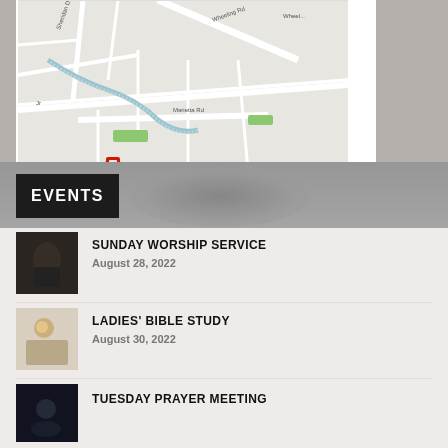[Figure (map): Google Maps view showing Wheeling Rd, Marietta Rd, Sheridan Dr area with street grid]
EVENTS
[Figure (photo): Person reading a book, dark photo]
SUNDAY WORSHIP SERVICE
August 28, 2022
[Figure (photo): Coffee cup and book]
LADIES' BIBLE STUDY
August 30, 2022
[Figure (photo): Dark image for Tuesday Prayer Meeting]
TUESDAY PRAYER MEETING